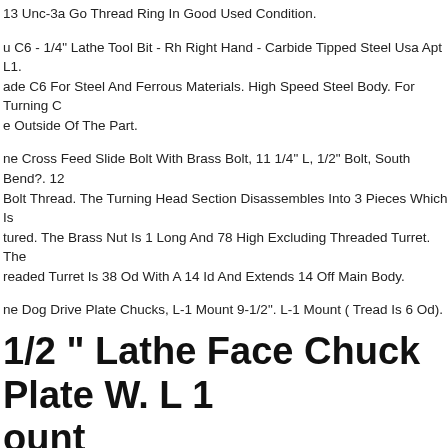13 Unc-3a Go Thread Ring In Good Used Condition.
u C6 - 1/4" Lathe Tool Bit - Rh Right Hand - Carbide Tipped Steel Usa Apt L1. ade C6 For Steel And Ferrous Materials. High Speed Steel Body. For Turning C e Outside Of The Part.
ne Cross Feed Slide Bolt With Brass Bolt, 11 1/4" L, 1/2" Bolt, South Bend?. 12 Bolt Thread. The Turning Head Section Disassembles Into 3 Pieces Which Is tured. The Brass Nut Is 1 Long And 78 High Excluding Threaded Turret. The readed Turret Is 38 Od With A 14 Id And Extends 14 Off Main Body.
ne Dog Drive Plate Chucks, L-1 Mount 9-1/2". L-1 Mount ( Tread Is 6 Od).
1/2 " Lathe Face Chuck Plate W. L 1 ount